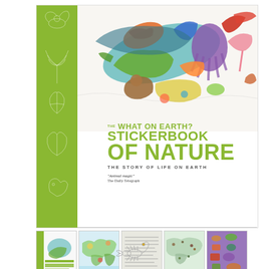[Figure (illustration): Book cover of 'The What on Earth? Stickerbook of Nature: The Story of Life on Earth' showing a collage of colorful illustrated animals (birds, reptiles, mammals, dinosaurs) arranged in a sweeping arc across the top, with a green illustrated sidebar on the left featuring nature-themed line drawings. Below the illustration is the book title in large bold olive-green text, subtitle, and a quote from The Daily Telegraph.]
THE WHAT ON EARTH? STICKERBOOK OF NATURE
THE STORY OF LIFE ON EARTH
"Animal magic" The Daily Telegraph
[Figure (illustration): Strip of five thumbnail images showing: book cover, colorful painted world map, text/list image, illustrated map with animals, and purple sticker sheet with animal illustrations.]
[Figure (illustration): Small line drawing of a scorpion or similar arthropod creature at the bottom center of the page.]